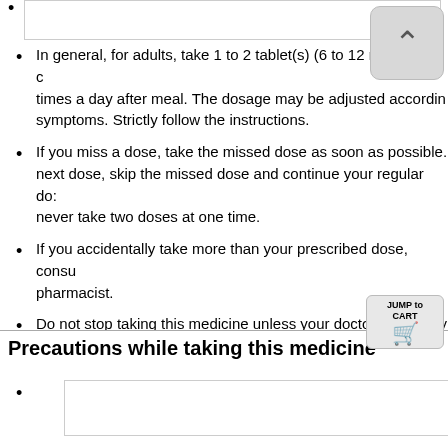In general, for adults, take 1 to 2 tablet(s) (6 to 12 mg of the ac times a day after meal. The dosage may be adjusted accordin symptoms. Strictly follow the instructions.
If you miss a dose, take the missed dose as soon as possible. next dose, skip the missed dose and continue your regular do: never take two doses at one time.
If you accidentally take more than your prescribed dose, cons pharmacist.
Do not stop taking this medicine unless your doctor instructs y
Precautions while taking this medicine